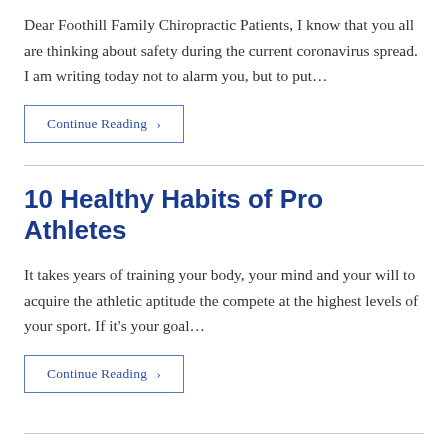Dear Foothill Family Chiropractic Patients, I know that you all are thinking about safety during the current coronavirus spread. I am writing today not to alarm you, but to put…
Continue Reading ›
10 Healthy Habits of Pro Athletes
It takes years of training your body, your mind and your will to acquire the athletic aptitude the compete at the highest levels of your sport. If it's your goal…
Continue Reading ›
How To Detox Properly